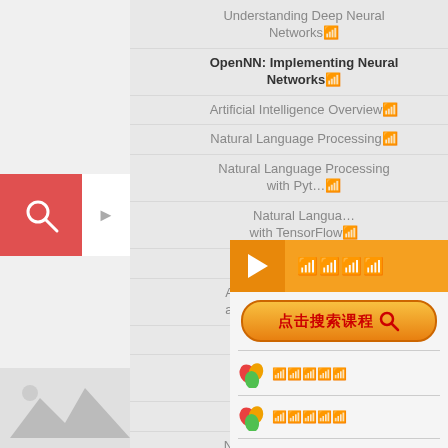Understanding Deep Neural Networks
OpenNNL: Implementing Neural Networks
Artificial Intelligence Overview
Natural Language Processing
Natural Language Processing with Python
Natural Language with TensorFlow
NLP with Deeplearning
Artificial Intelligence - the applied stuff - Data Analysis
Distributed AI + NLP
NLP: Natural Language Processing with R
Python
Natural Language Proces
Natural Language Proces
[Figure (screenshot): Search interface with red search icon and arrow button on the left sidebar]
[Figure (screenshot): Orange popup overlay showing course search UI with Chinese text '点击搜索课程' and course listings with colorful icons]